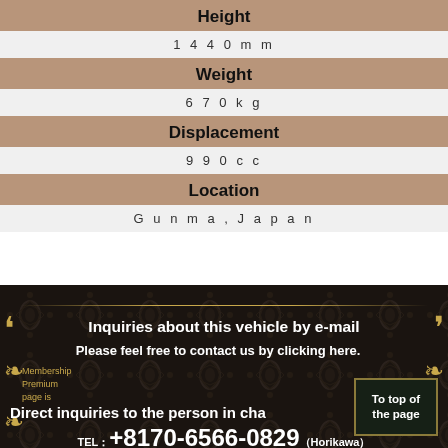| Height | 1 4 4 0 m m |
| Weight | 6 7 0 k g |
| Displacement | 9 9 0 c c |
| Location | G u n m a , J a p a n |
Inquiries about this vehicle by e-mail
Please feel free to contact us by clicking here.
Membership
Premium
page is
Direct inquiries to the person in cha
To top of the page
TEL：+8170-6566-0829 (Horikawa)